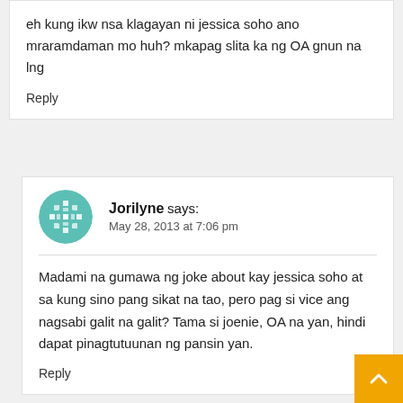eh kung ikw nsa klagayan ni jessica soho ano mraramdaman mo huh? mkapag slita ka ng OA gnun na lng
Reply
Jorilyne says: May 28, 2013 at 7:06 pm
Madami na gumawa ng joke about kay jessica soho at sa kung sino pang sikat na tao, pero pag si vice ang nagsabi galit na galit? Tama si joenie, OA na yan, hindi dapat pinagtutuunan ng pansin yan.
Reply